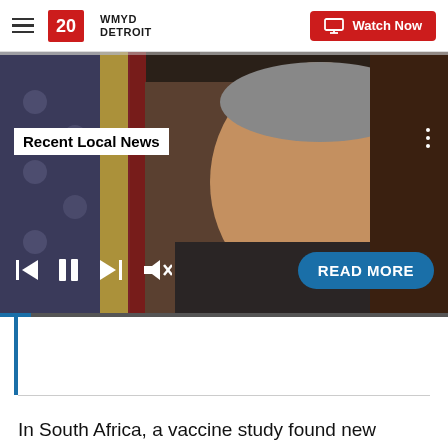WMYD DETROIT | Watch Now
[Figure (screenshot): Video player showing a man in a suit speaking in front of an American flag, with controls: skip back, pause, skip forward, mute; a 'Recent Local News' label overlay; and a 'READ MORE' button]
In South Africa, a vaccine study found new infections with a variant in 2% of people who previously had an earlier version of the virus.